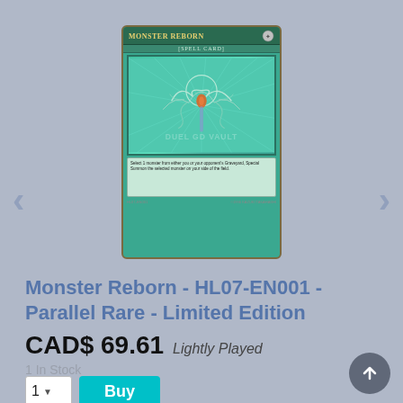[Figure (photo): Yu-Gi-Oh! Monster Reborn trading card image. Green Spell Card with stylized artwork showing a glowing ankh/creature motif. Card title reads 'Monster Reborn' in gold letters with [Spell Card] type bar.]
Monster Reborn - HL07-EN001 - Parallel Rare - Limited Edition
CAD$ 69.61  Lightly Played
1 In Stock
1  Buy